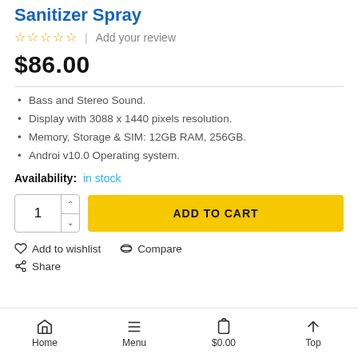Sanitizer Spray
☆☆☆☆☆ | Add your review
$86.00
Bass and Stereo Sound.
Display with 3088 x 1440 pixels resolution.
Memory, Storage & SIM: 12GB RAM, 256GB.
Androi v10.0 Operating system.
Availability: in stock
ADD TO CART
Add to wishlist  Compare
Share
Home  Menu  $0.00  Top